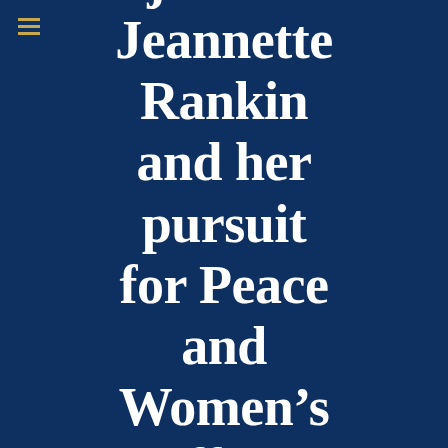job…” Jeannette Rankin and her pursuit for Peace and Women’s Suffrage